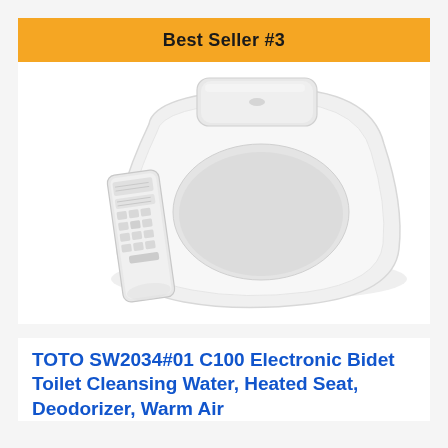Best Seller #3
[Figure (photo): TOTO C100 Electronic Bidet Toilet Seat shown from an angled top-view perspective in white, with a separate elongated remote control placed to the left side of the seat. The seat has a rounded front and a tank/lid on the back. The remote has multiple button rows.]
TOTO SW2034#01 C100 Electronic Bidet Toilet Cleansing Water, Heated Seat, Deodorizer, Warm Air